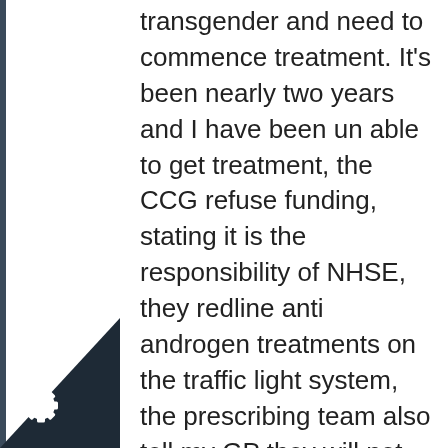transgender and need to commence treatment. It’s been nearly two years and I have been un able to get treatment, the CCG refuse funding, stating it is the responsibility of NHSE, they redline anti androgen treatments on the traffic light system, the prescribing team also tell my GP they will not recommend this treatment. The CCG say that NHSE do not have a recognised share care agreement, they have the protocol from NHSE regarding roles and responsibilities, but disagree with it and do not recognise it, NHSE do not provide funding for hormone treatments, refer you back to the CCG. no one takes this issue seriously, it’s no ones responsibility , I am left self medicating and an’t even get a blood test as the CCG say